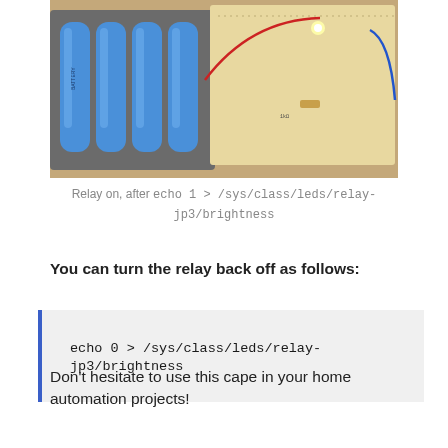[Figure (photo): Photo of a breadboard with a lit LED and wires, alongside a battery holder with four blue cylindrical batteries on a wooden surface.]
Relay on, after echo 1 > /sys/class/leds/relay-jp3/brightness
You can turn the relay back off as follows:
echo 0 > /sys/class/leds/relay-jp3/brightness
Don't hesitate to use this cape in your home automation projects!